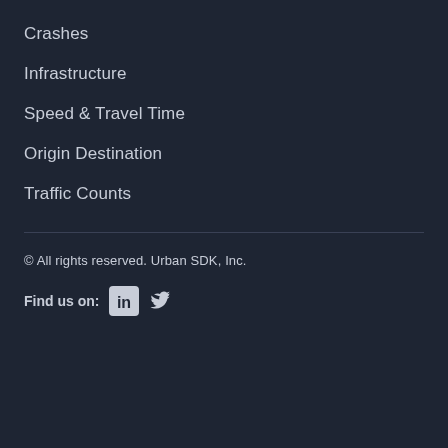Crashes
Infrastructure
Speed & Travel Time
Origin Destination
Traffic Counts
© All rights reserved. Urban SDK, Inc.
Find us on: [LinkedIn] [Twitter]